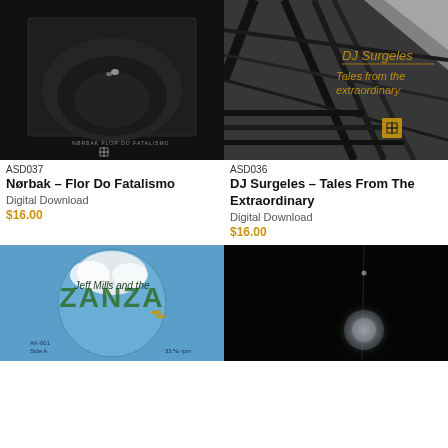[Figure (photo): Black and white close-up photo of a vinyl record or curved surface with small text at bottom reading NØRBAK FLOR DO FATALISMO and a crosshair logo]
ASD037
Nørbak – Flor Do Fatalismo
Digital Download
$16.00
[Figure (photo): Black and white photo of metal staircase structure with yellow golden text overlay reading DJ Surgeles Tales from the extraordinary and a crosshair logo]
ASD036
DJ Surgeles – Tales From The Extraordinary
Digital Download
$16.00
[Figure (photo): Blue disc/record label with text Jeff Mills and the ZANZA in tropical green leaf letters, AK-001 Side A 33 1/3 rpm]
[Figure (photo): Dark black background with faint glowing orb/sphere and thin vertical line of light]